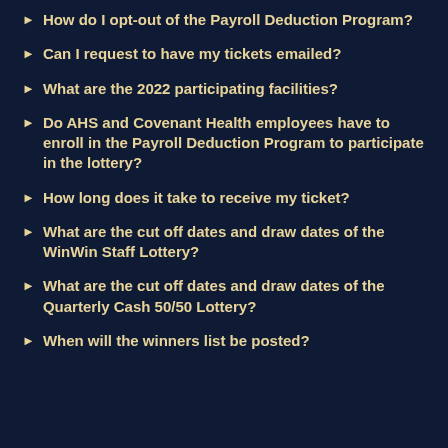How do I opt-out of the Payroll Deduction Program?
Can I request to have my tickets emailed?
What are the 2022 participating facilities?
Do AHS and Covenant Health employees have to enroll in the Payroll Deduction Program to participate in the lottery?
How long does it take to receive my ticket?
What are the cut off dates and draw dates of the WinWin Staff Lottery?
What are the cut off dates and draw dates of the Quarterly Cash 50/50 Lottery?
When will the winners list be posted?